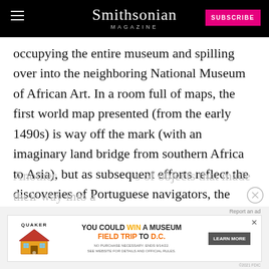Smithsonian MAGAZINE
occupying the entire museum and spilling over into the neighboring National Museum of African Art. In a room full of maps, the first world map presented (from the early 1490s) is way off the mark (with an imaginary land bridge from southern Africa to Asia), but as subsequent efforts reflect the discoveries of Portuguese navigators, the continents morph into the shapes we recognize today.
Another ... objects that made their way into a